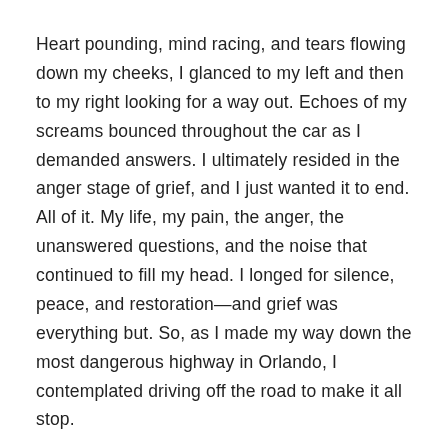Heart pounding, mind racing, and tears flowing down my cheeks, I glanced to my left and then to my right looking for a way out. Echoes of my screams bounced throughout the car as I demanded answers. I ultimately resided in the anger stage of grief, and I just wanted it to end. All of it. My life, my pain, the anger, the unanswered questions, and the noise that continued to fill my head. I longed for silence, peace, and restoration—and grief was everything but. So, as I made my way down the most dangerous highway in Orlando, I contemplated driving off the road to make it all stop.
There are parts of my story that I used to keep within because judgment felt too heavy. But through the years, I've realized the fear of judgment weighs a lot less than the reality of walking through grief alone—so